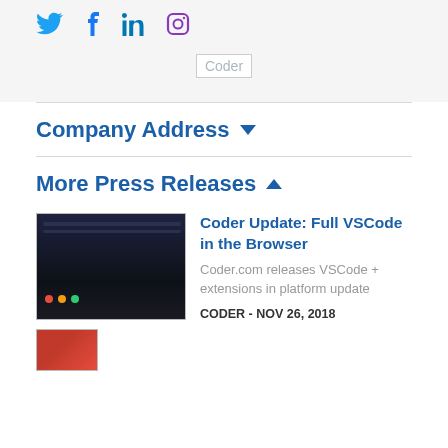[Figure (other): Social media icons: Twitter, Facebook, LinkedIn, Instagram]
[Figure (logo): Coder logo placeholder image]
Company Address ▼
More Press Releases ▲
[Figure (screenshot): Screenshot of Coder VSCode browser interface, dark theme]
Coder Update: Full VSCode in the Browser
Coder.com releases VSCode + extensions in platform update
CODER - NOV 26, 2018
[Figure (screenshot): Partial thumbnail of a second press release article]